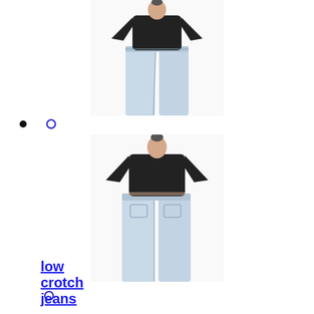[Figure (photo): Front view of a model wearing wide-leg light-wash jeans and a black cropped t-shirt, standing against a white background]
[Figure (photo): Back view of a model wearing wide-leg light-wash jeans and a black cropped t-shirt, standing against a white background]
• ○
○
low crotch jeans